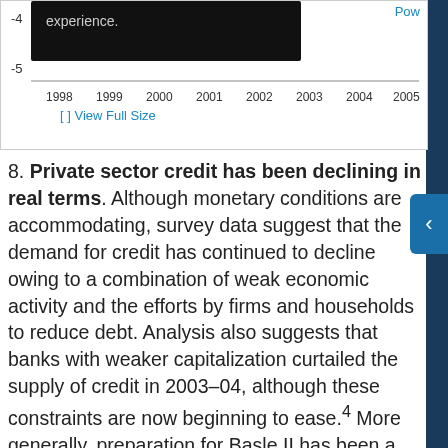[Figure (continuous-plot): Bottom portion of a line chart with x-axis years 1998–2005 and y-axis values showing -4 and -5. A dark/black overlay covers part of the chart area with text 'experience.']
[ ]  View Full Size
Pow
8. Private sector credit has been declining in real terms. Although monetary conditions are accommodating, survey data suggest that the demand for credit has continued to decline owing to a combination of weak economic activity and the efforts by firms and households to reduce debt. Analysis also suggests that banks with weaker capitalization curtailed the supply of credit in 2003–04, although these constraints are now beginning to ease.4 More generally, preparation for Basle II has been a force for changed behavior by German banks, especially the greater focus on risk differentiation. Falling demand for credit, combined with a renewed targeting by private sector banks of SMEs, has heightened competition, triggering a narrowing of lending spreads (Figures 4 and 5).